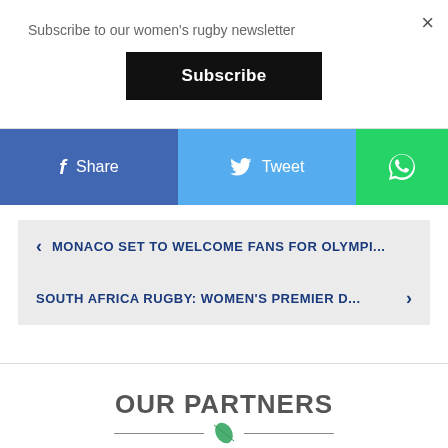Subscribe to our women's rugby newsletter
Subscribe
f Share
Tweet
WhatsApp
< MONACO SET TO WELCOME FANS FOR OLYMPI...
SOUTH AFRICA RUGBY: WOMEN'S PREMIER D... >
OUR PARTNERS